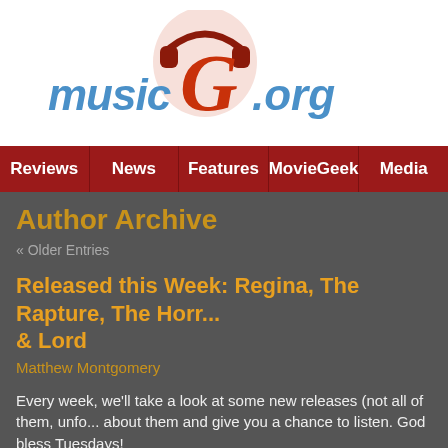[Figure (logo): musicGeek.org logo with stylized text and headphones graphic]
Reviews | News | Features | MovieGeek | Media
Author Archive
« Older Entries
Released this Week: Regina, The Rapture, The Horr... & Lord
Matthew Montgomery
Every week, we'll take a look at some new releases (not all of them, unfo... about them and give you a chance to listen. God bless Tuesdays!
Regina — Soita Mulle
While people in the U.S. are busy sleeping, Regina are busy making bea... Unless they record at night. That's possible. Check out "Unessa" and "Ha... due out September 20 on Friendly Fire. They'll be releasing the album in